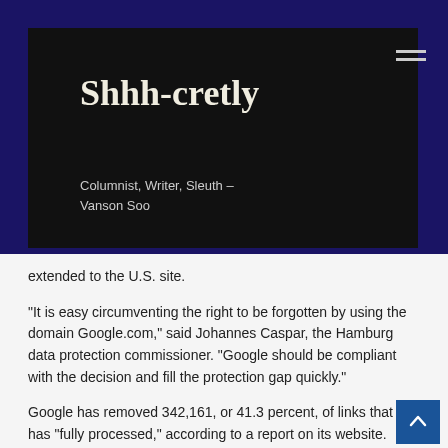Shhh-cretly
Columnist, Writer, Sleuth – Vanson Soo
extended to the U.S. site.
“It is easy circumventing the right to be forgotten by using the domain Google.com,” said Johannes Caspar, the Hamburg data protection commissioner. “Google should be compliant with the decision and fill the protection gap quickly.”
Google has removed 342,161, or 41.3 percent, of links that it has “fully processed,” according to a report on its website.
‘Right Balance’
The U.K.’s Information Commissioner’s Office said in a statement that its experience with removal requests